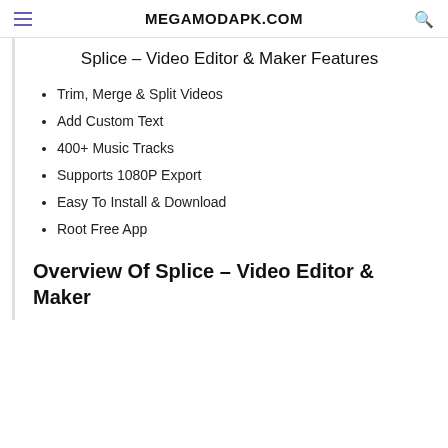MEGAMODAPK.COM
Splice – Video Editor & Maker Features
Trim, Merge & Split Videos
Add Custom Text
400+ Music Tracks
Supports 1080P Export
Easy To Install & Download
Root Free App
Overview Of Splice – Video Editor & Maker